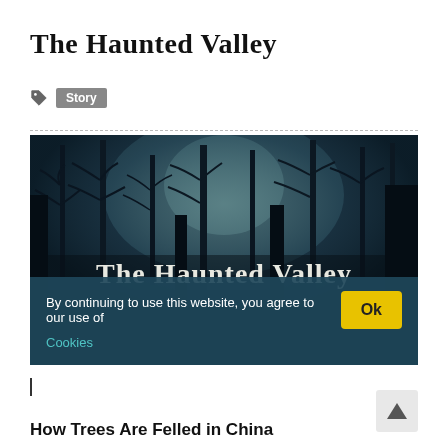The Haunted Valley
Story
[Figure (illustration): Dark forest scene at night with bare trees and moonlight, overlaid with white serif text reading 'The Haunted Valley']
By continuing to use this website, you agree to our use of Cookies
How Trees Are Felled in China